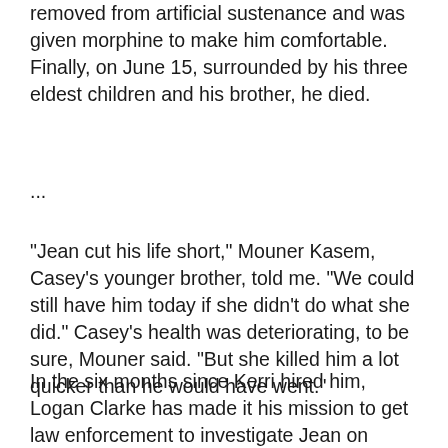removed from artificial sustenance and was given morphine to make him comfortable. Finally, on June 15, surrounded by his three eldest children and his brother, he died.
...
"Jean cut his life short," Mouner Kasem, Casey's younger brother, told me. "We could still have him today if she didn't do what she did." Casey's health was deteriorating, to be sure, Mouner said. "But she killed him a lot quicker than he would have went."
In the six months since Kerri hired him, Logan Clarke has made it his mission to get law enforcement to investigate Jean on charges